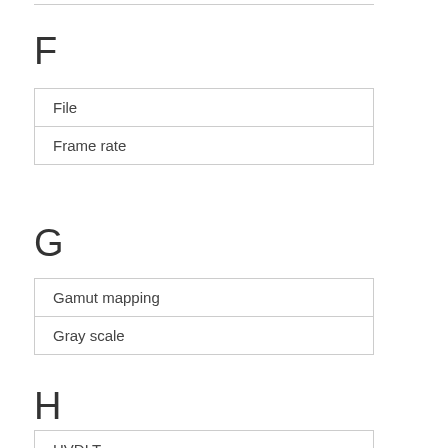F
| File |
| Frame rate |
G
| Gamut mapping |
| Gray scale |
H
| HVDLT |